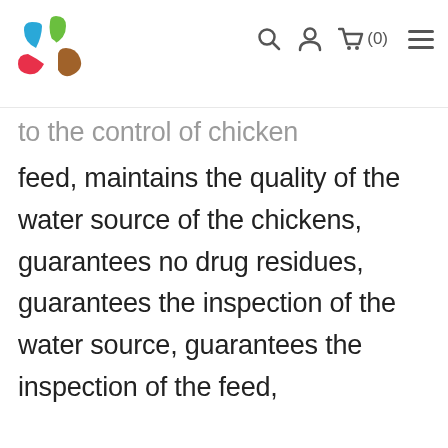logo | search | account | cart (0) | menu
to the control of chicken feed, maintains the quality of the water source of the chickens, guarantees no drug residues, guarantees the inspection of the water source, guarantees the inspection of the feed,